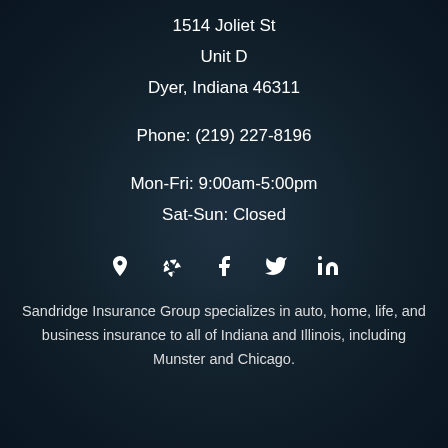1514 Joliet St
Unit D
Dyer, Indiana 46311
Phone: (219) 227-8196
Mon-Fri: 9:00am-5:00pm
Sat-Sun: Closed
[Figure (infographic): Social media icons: map pin, Yelp, Facebook, Twitter, LinkedIn]
Sandridge Insurance Group specializes in auto, home, life, and business insurance to all of Indiana and Illinois, including Munster and Chicago.